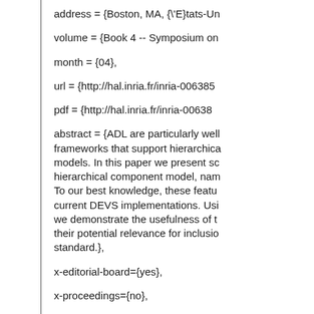address = {Boston, MA, {\'E}tats-Un
volume = {Book 4 -- Symposium on
month = {04},
url = {http://hal.inria.fr/inria-006385
pdf = {http://hal.inria.fr/inria-006385
abstract = {ADL are particularly well frameworks that support hierarchica models. In this paper we present sc hierarchical component model, nam To our best knowledge, these featu current DEVS implementations. Usi we demonstrate the usefulness of t their potential relevance for inclusio standard.},
x-editorial-board={yes},
x-proceedings={no},